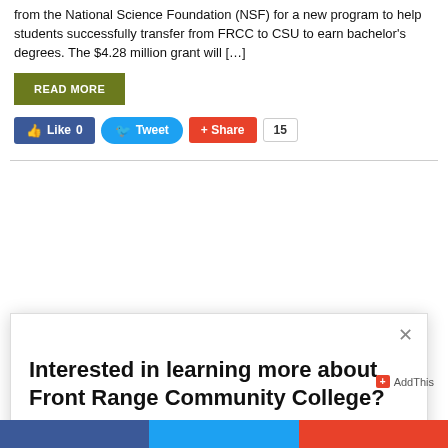from the National Science Foundation (NSF) for a new program to help students successfully transfer from FRCC to CSU to earn bachelor's degrees. The $4.28 million grant will […]
READ MORE
Like 0  Tweet  Share 15
Interested in learning more about Front Range Community College?
Yes please!  No thanks.